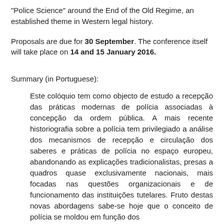"Police Science" around the End of the Old Regime, an established theme in Western legal history.
Proposals are due for 30 September. The conference itself will take place on 14 and 15 January 2016.
Summary (in Portuguese):
Este colóquio tem como objecto de estudo a recepção das práticas modernas de polícia associadas à concepção da ordem pública. A mais recente historiografia sobre a polícia tem privilegiado a análise dos mecanismos de recepção e circulação dos saberes e práticas de polícia no espaço europeu, abandonando as explicações tradicionalistas, presas a quadros quase exclusivamente nacionais, mais focadas nas questões organizacionais e de funcionamento das instituições tutelares. Fruto destas novas abordagens sabe-se hoje que o conceito de polícia se moldou em função dos